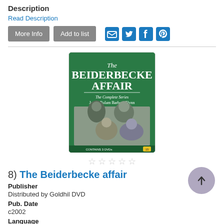Description
Read Description
[Figure (screenshot): Two buttons labeled 'More Info' and 'Add to list', followed by social sharing icons for email, Twitter, Facebook, and Pinterest]
[Figure (photo): DVD cover for 'The Beiderbecke Affair - The Complete Series' starring James Bolam and Barbara Flynn, with two characters in black and white photo]
[Figure (other): Five empty star rating icons]
8)  The Beiderbecke affair
Publisher
Distributed by Goldhil DVD
Pub. Date
c2002
Language